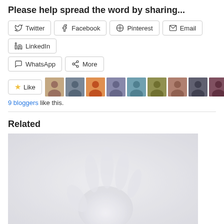Please help spread the word by sharing...
[Figure (screenshot): Social sharing buttons: Twitter, Facebook, Pinterest, Email, LinkedIn, WhatsApp, More]
[Figure (screenshot): Like button with star icon and 9 blogger avatars]
9 bloggers like this.
Related
[Figure (photo): A ghostly hand pressed against a frosted white surface]